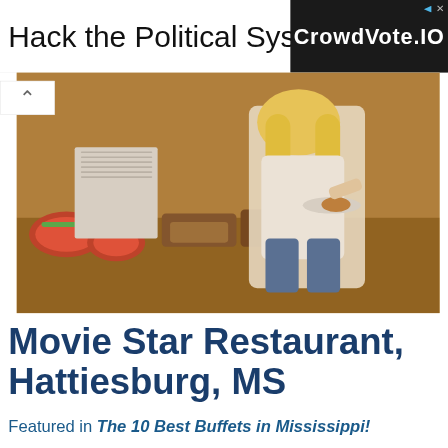[Figure (screenshot): Advertisement banner: 'Hack the Political System.' with CrowdVote.IO logo on dark background]
[Figure (photo): Buffet scene with woman serving food at a spread of dishes, watermelon, and other items]
Movie Star Restaurant, Hattiesburg, MS
Featured in The 10 Best Buffets in Mississippi!
The Movie Star Restaurant in Hattiesburg is a favorite of the Pine Belt, thanks to their excellent service and legacy of great food. The Movie Star Restaurant is named for the old Movie Star lingerie… Read More